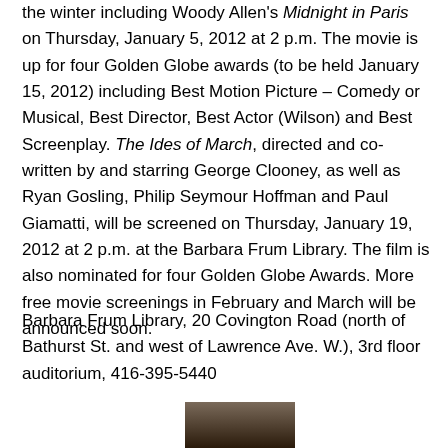the winter including Woody Allen's Midnight in Paris on Thursday, January 5, 2012 at 2 p.m. The movie is up for four Golden Globe awards (to be held January 15, 2012) including Best Motion Picture – Comedy or Musical, Best Director, Best Actor (Wilson) and Best Screenplay. The Ides of March, directed and co-written by and starring George Clooney, as well as Ryan Gosling, Philip Seymour Hoffman and Paul Giamatti, will be screened on Thursday, January 19, 2012 at 2 p.m. at the Barbara Frum Library. The film is also nominated for four Golden Globe Awards. More free movie screenings in February and March will be announced soon.
Barbara Frum Library, 20 Covington Road (north of Bathurst St. and west of Lawrence Ave. W.), 3rd floor auditorium, 416-395-5440
[Figure (photo): Partial photo of a person, cropped at bottom of page, showing face/head area with dark background]